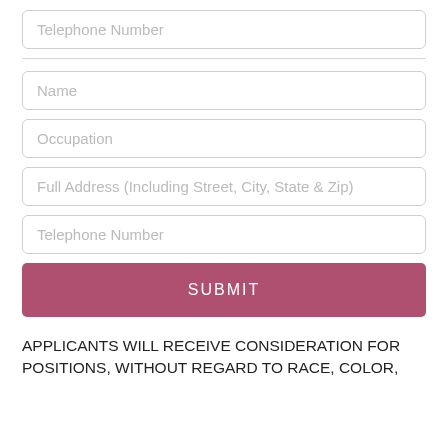Telephone Number
Name
Occupation
Full Address (Including Street, City, State & Zip)
Telephone Number
SUBMIT
APPLICANTS WILL RECEIVE CONSIDERATION FOR POSITIONS, WITHOUT REGARD TO RACE, COLOR,